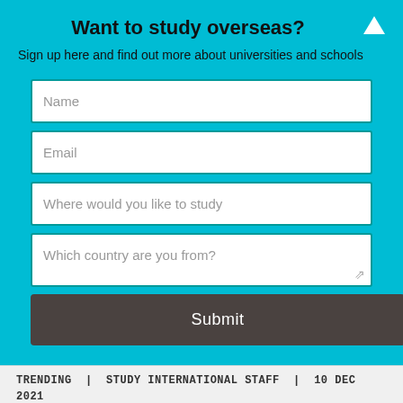Want to study overseas?
Sign up here and find out more about universities and schools
Name
Email
Where would you like to study
Which country are you from?
Submit
TRENDING  |  STUDY INTERNATIONAL STAFF  |  10 DEC 2021
[Figure (photo): Street scene in London with a red double-decker bus (number 211, Waterloo) on the left and historic London buildings and a lamp post on the right under a cloudy sky.]